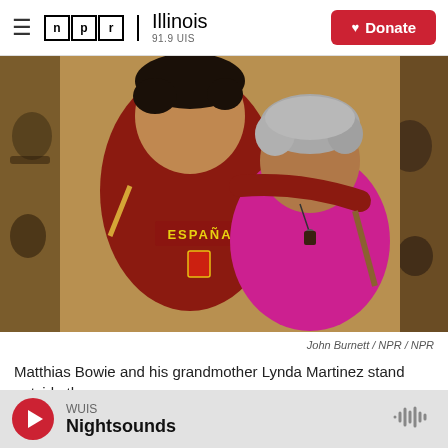NPR Illinois 91.9 UIS | Donate
[Figure (photo): Two people posing together outside a building. A younger man wearing a red España shirt with his arm around an older woman with gray curly hair wearing a pink/magenta top. They are standing in front of a wooden door.]
John Burnett / NPR / NPR
Matthias Bowie and his grandmother Lynda Martinez stand outside the
WUIS Nightsounds